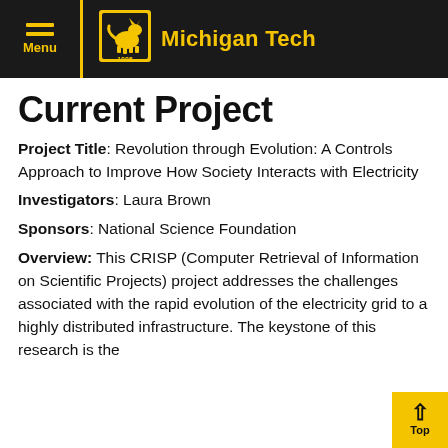Michigan Tech
Current Project
Project Title: Revolution through Evolution: A Controls Approach to Improve How Society Interacts with Electricity
Investigators: Laura Brown
Sponsors: National Science Foundation
Overview: This CRISP (Computer Retrieval of Information on Scientific Projects) project addresses the challenges associated with the rapid evolution of the electricity grid to a highly distributed infrastructure. The keystone of this research is the